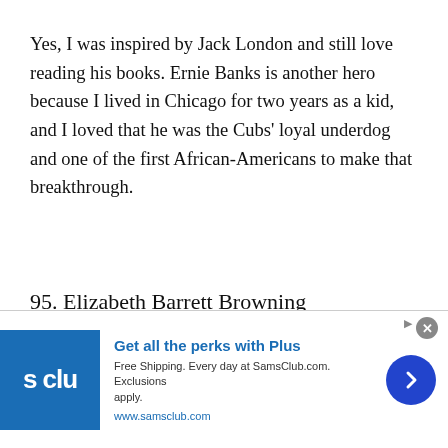Yes, I was inspired by Jack London and still love reading his books. Ernie Banks is another hero because I lived in Chicago for two years as a kid, and I loved that he was the Cubs' loyal underdog and one of the first African-Americans to make that breakthrough.
95. Elizabeth Barrett Browning
And each man stands with his face in the
[Figure (other): Sam's Club advertisement banner: 'Get all the perks with Plus' — Free Shipping. Every day at SamsClub.com. Exclusions apply. www.samsclub.com — with S Club logo and blue arrow button]